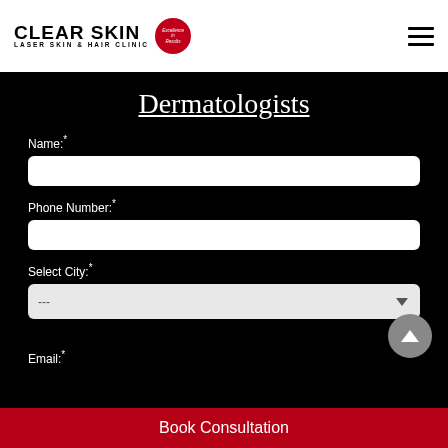[Figure (logo): Clear Skin Laser Skin & Hair Clinic logo with red circle emblem]
Dermatologists
Name:*
Phone Number:*
Select City:*
Email:*
Book Consultation